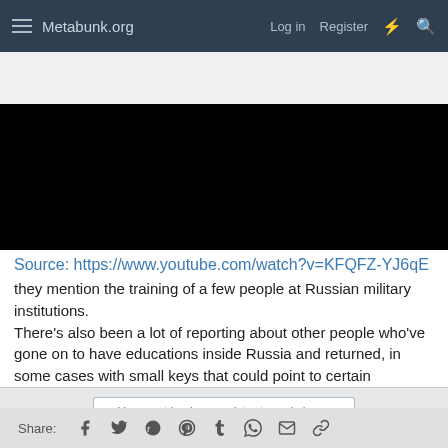Metabunk.org  Log in  Register
[Figure (screenshot): Black video player embed area]
Source: https://www.youtube.com/watch?v=KFQFZ-YJ6qE
they mention the training of a few people at Russian military institutions.
There's also been a lot of reporting about other people who've gone on to have educations inside Russia and returned, in some cases with small keys that could point to certain relationships.
You must log in or register to reply here.
Share: